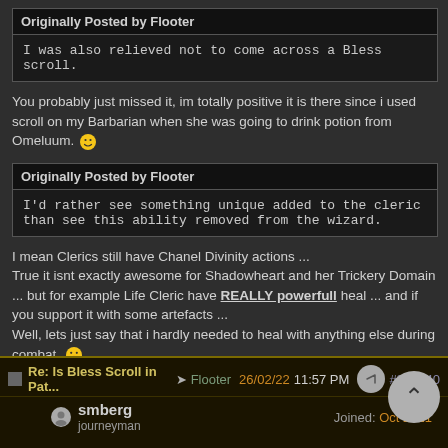Originally Posted by Flooter
I was also relieved not to come across a Bless scroll.
You probably just missed it, im totally positive it is there since i used scroll on my Barbarian when she was going to drink potion from Omeluum. 🙂
Originally Posted by Flooter
I'd rather see something unique added to the cleric than see this ability removed from the wizard.
I mean Clerics still have Chanel Divinity actions ...
True it isnt exactly awesome for Shadowheart and her Trickery Domain ... but for example Life Cleric have REALLY powerfull heal ... and if you support it with some artefacts ...
Well, lets just say that i hardly needed to heal with anything else during combat. 😁
Re: Is Bless Scroll in Pat... → Flooter 26/02/22 11:57 PM #810140
smberg journeyman Joined: Oct 2021